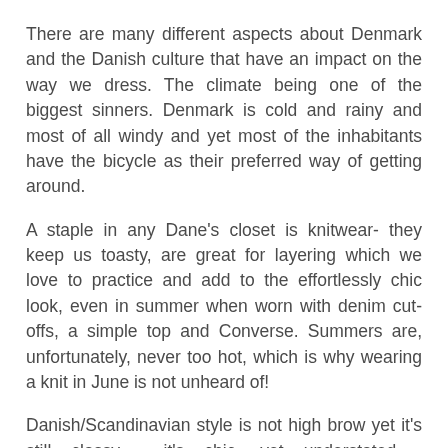There are many different aspects about Denmark and the Danish culture that have an impact on the way we dress. The climate being one of the biggest sinners. Denmark is cold and rainy and most of all windy and yet most of the inhabitants have the bicycle as their preferred way of getting around.
A staple in any Dane's closet is knitwear- they keep us toasty, are great for layering which we love to practice and add to the effortlessly chic look, even in summer when worn with denim cut-offs, a simple top and Converse. Summers are, unfortunately, never too hot, which is why wearing a knit in June is not unheard of!
Danish/Scandinavian style is not high brow yet it's still classy,  it's chic, yet understated - contradictions that work for us.
So there really is something about not taking fashion too seriously yet reaching that flair of chic effortlessness to get that look that many, that are the essence of Scandinavian style.